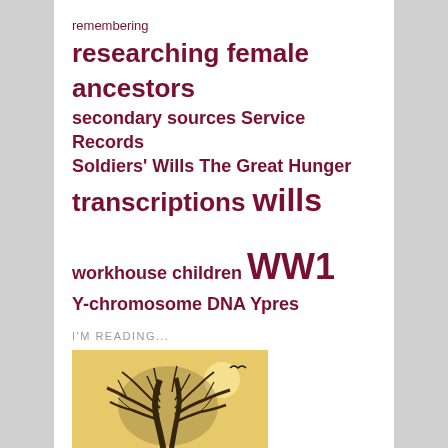remembering
researching female ancestors
secondary sources Service Records
Soldiers' Wills The Great Hunger
transcriptions wills
workhouse children WW1
Y-chromosome DNA Ypres
I'M READING...
[Figure (illustration): Book cover showing a tree with extensive root system against a yellow/gold sky, with the word GENEALOGY at the bottom]